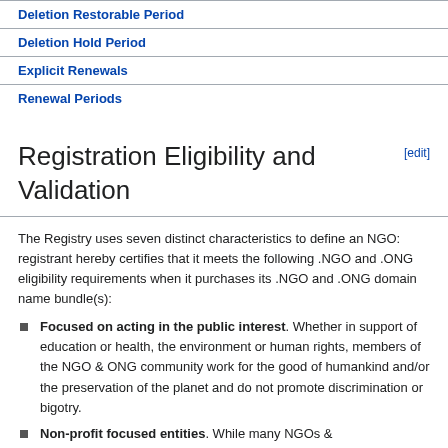Deletion Restorable Period
Deletion Hold Period
Explicit Renewals
Renewal Periods
Registration Eligibility and Validation
The Registry uses seven distinct characteristics to define an NGO: registrant hereby certifies that it meets the following .NGO and .ONG eligibility requirements when it purchases its .NGO and .ONG domain name bundle(s):
Focused on acting in the public interest. Whether in support of education or health, the environment or human rights, members of the NGO & ONG community work for the good of humankind and/or the preservation of the planet and do not promote discrimination or bigotry.
Non-profit focused entities. While many NGOs &